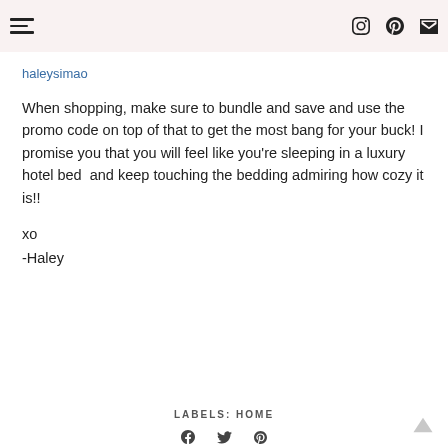haleysimao — navigation and social icons (Instagram, Pinterest, email)
haleysimao
When shopping, make sure to bundle and save and use the promo code on top of that to get the most bang for your buck! I promise you that you will feel like you're sleeping in a luxury hotel bed  and keep touching the bedding admiring how cozy it is!!
xo
-Haley
LABELS: HOME